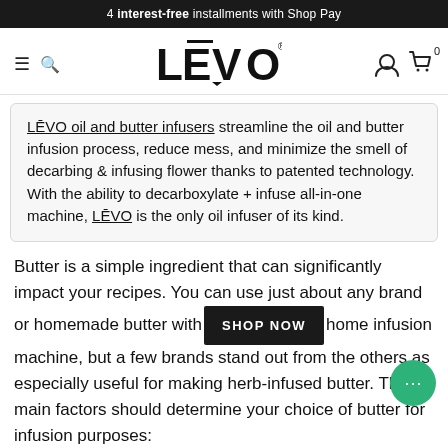4 interest-free installments with Shop Pay
[Figure (logo): LEVO brand logo with macron over E and a drop shape below]
LEVO oil and butter infusers streamline the oil and butter infusion process, reduce mess, and minimize the smell of decarbing & infusing flower thanks to patented technology. With the ability to decarboxylate + infuse all-in-one machine, LEVO is the only oil infuser of its kind.
Butter is a simple ingredient that can significantly impact your recipes. You can use just about any brand or homemade butter with [SHOP NOW] home infusion machine, but a few brands stand out from the others as especially useful for making herb-infused butter. Three main factors should determine your choice of butter for infusion purposes: